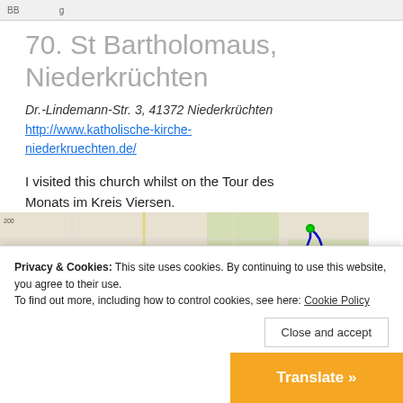BB ...g
70. St Bartholomaus, Niederkrüchten
Dr.-Lindemann-Str. 3, 41372 Niederkrüchten
http://www.katholische-kirche-niederkruechten.de/
I visited this church whilst on the Tour des Monats im Kreis Viersen.
[Figure (map): Google map showing route near Niederkrüchten with blue route line and green marker]
Privacy & Cookies: This site uses cookies. By continuing to use this website, you agree to their use.
To find out more, including how to control cookies, see here: Cookie Policy
Close and accept
Translate »